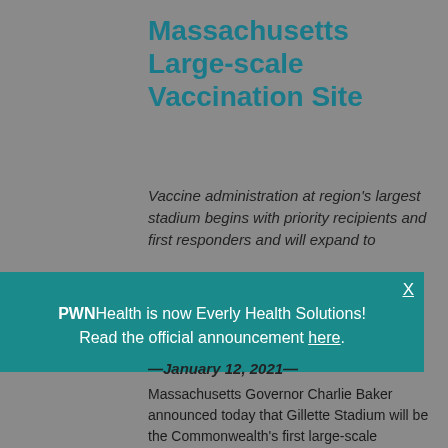Massachusetts Large-scale Vaccination Site
Vaccine administration at region's largest stadium begins with priority recipients and first responders and will expand to
[Figure (infographic): Popup banner overlay with teal background reading: PWNHealth is now Everly Health Solutions! Read the official announcement here. With X close button.]
— January 12, 2021 —
Massachusetts Governor Charlie Baker announced today that Gillette Stadium will be the Commonwealth's first large-scale vaccination site, operated by CIC Health. The State selected CIC Health — a Cambridge-based health tech company —